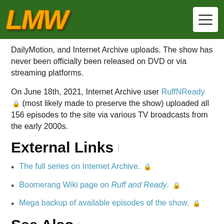[Figure (logo): LMW logo in gold/orange italic styled text on dark green header background, with hamburger menu icon on the right]
DailyMotion, and Internet Archive uploads. The show has never been officially been released on DVD or via streaming platforms.
On June 18th, 2021, Internet Archive user RuffNReady 🔒 (most likely made to preserve the show) uploaded all 156 episodes to the site via various TV broadcasts from the early 2000s.
External Links
The full series on Internet Archive. 🔒
Boomerang Wiki page on Ruff and Ready. 🔒
Mega backup of available episodes of the show. 🔒
See Also